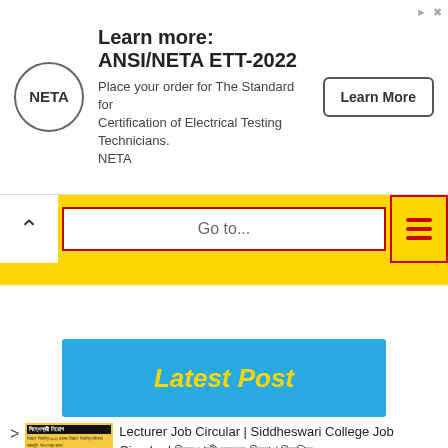[Figure (screenshot): Advertisement banner for NETA ANSI/ETT-2022 with logo, text, and Learn More button]
[Figure (screenshot): Navigation bar with chevron, Go to... input field, and hamburger menu on yellow background]
Latest Post
Lecturer Job Circular | Siddheswari College Job Circular | সিদ্ধেশ্বরী কলেজ নিয়োগ বিজ্ঞপ্তি ২০২২